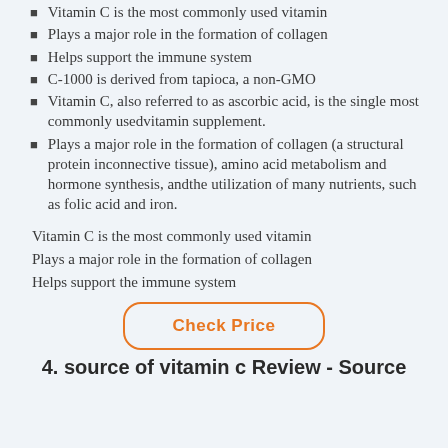Vitamin C is the most commonly used vitamin
Plays a major role in the formation of collagen
Helps support the immune system
C-1000 is derived from tapioca, a non-GMO
Vitamin C, also referred to as ascorbic acid, is the single most commonly usedvitamin supplement.
Plays a major role in the formation of collagen (a structural protein inconnective tissue), amino acid metabolism and hormone synthesis, andthe utilization of many nutrients, such as folic acid and iron.
Vitamin C is the most commonly used vitamin
Plays a major role in the formation of collagen
Helps support the immune system
Check Price
4. source of vitamin c Review - Source